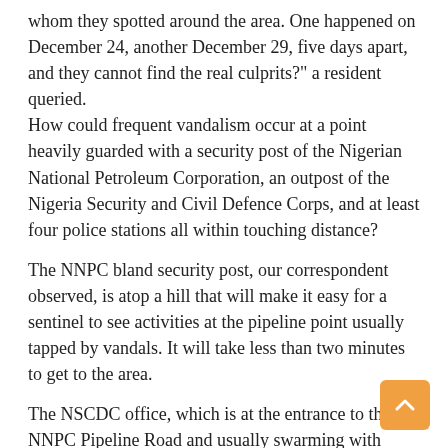whom they spotted around the area. One happened on December 24, another December 29, five days apart, and they cannot find the real culprits?" a resident queried.
How could frequent vandalism occur at a point heavily guarded with a security post of the Nigerian National Petroleum Corporation, an outpost of the Nigeria Security and Civil Defence Corps, and at least four police stations all within touching distance?
The NNPC bland security post, our correspondent observed, is atop a hill that will make it easy for a sentinel to see activities at the pipeline point usually tapped by vandals. It will take less than two minutes to get to the area.
The NSCDC office, which is at the entrance to the NNPC Pipeline Road and usually swarming with officers, is less than five minutes trek to where hoodlums usually break the pipeline.
There are11 police stations under the Area M Police Command, Idimu. They are Ikotun, Igando, Idimu, Isheri Osun, Shasha, Oke-Odo, Meiran, Ipaja, Gowon Estate, Ayobo and Alagbado police stations.